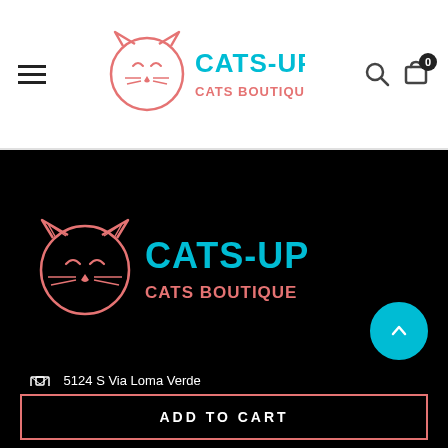[Figure (logo): Cats-Up Cats Boutique logo in header with hamburger menu, search and cart icons]
[Figure (logo): Cats-Up Cats Boutique logo in footer on black background]
5124 S Via Loma Verde
Green Valley, AZ
USA
catsupshop@gmail.com
[Figure (illustration): Social media icons: Facebook, Pinterest, Instagram]
ADD TO CART